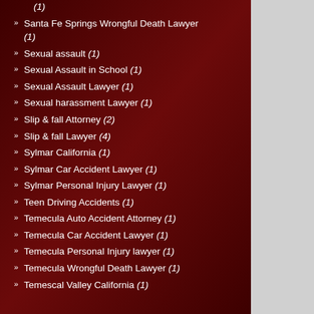(1)
Santa Fe Springs Wrongful Death Lawyer (1)
Sexual assault (1)
Sexual Assault in School (1)
Sexual Assault Lawyer (1)
Sexual harassment Lawyer (1)
Slip & fall Attorney (2)
Slip & fall Lawyer (4)
Sylmar California (1)
Sylmar Car Accident Lawyer (1)
Sylmar Personal Injury Lawyer (1)
Teen Driving Accidents (1)
Temecula Auto Accident Attorney (1)
Temecula Car Accident Lawyer (1)
Temecula Personal Injury lawyer (1)
Temecula Wrongful Death Lawyer (1)
Temescal Valley California (1)